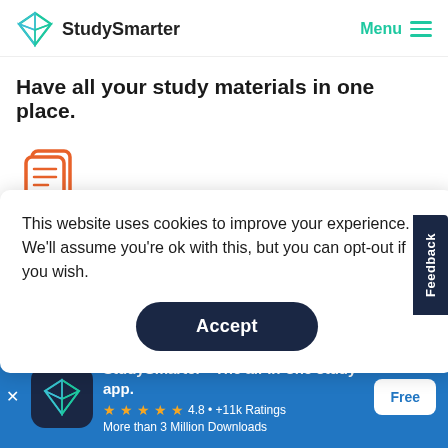[Figure (logo): StudySmarter logo with teal geometric diamond icon and 'StudySmarter' wordmark, plus Menu with hamburger icon in teal on the right]
Have all your study materials in one place.
[Figure (illustration): Orange document/clipboard stack icon]
This website uses cookies to improve your experience. We'll assume you're ok with this, but you can opt-out if you wish.
Accept
Feedback
[Figure (screenshot): App store banner with StudySmarter app icon, title 'StudySmarter - The all-in-one study app.', rating 4.8 +11k Ratings, More than 3 Million Downloads, and Free button]